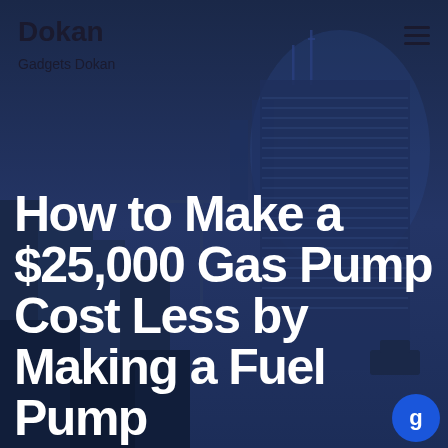Dokan
Gadgets Dokan
How to Make a $25,000 Gas Pump Cost Less by Making a Fuel Pump
[Figure (photo): City skyline at dusk with a tall office building under a blue-toned sky, serving as the hero background image for the article page.]